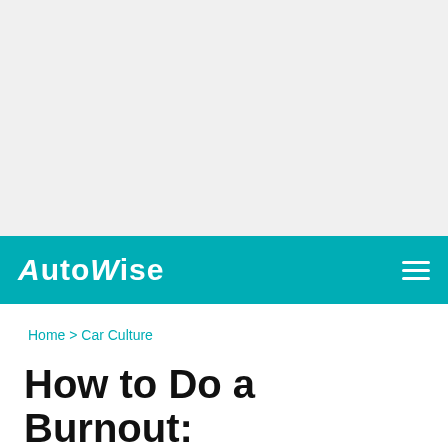[Figure (other): Gray advertisement/placeholder area at the top of the page]
AutoWise
Home > Car Culture
How to Do a Burnout: The Complete Guid...